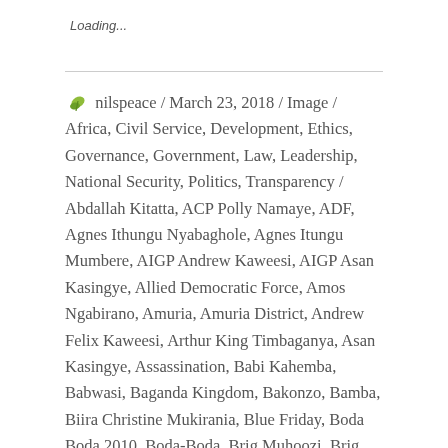Loading...
nilspeace / March 23, 2018 / Image / Africa, Civil Service, Development, Ethics, Governance, Government, Law, Leadership, National Security, Politics, Transparency / Abdallah Kitatta, ACP Polly Namaye, ADF, Agnes Ithungu Nyabaghole, Agnes Itungu Mumbere, AIGP Andrew Kaweesi, AIGP Asan Kasingye, Allied Democratic Force, Amos Ngabirano, Amuria, Amuria District, Andrew Felix Kaweesi, Arthur King Timbaganya, Asan Kasingye, Assassination, Babi Kahemba, Babwasi, Baganda Kingdom, Bakonzo, Bamba, Biira Christine Mukirania, Blue Friday, Boda Boda 2010, Boda-Boda, Brig Muhoozi, Brig. Leopold Kyanda, Brig. Sabiiti Muzeei, Brigadier Muhoozi Kaneirugaba, Bugoye., Buhikira Royal Palace, Bundibugyo, Bundibugyo district, Bushenyi, C4DC, Cap. Mike Mukula, Captain Ojara, CDF Gen. Katumba